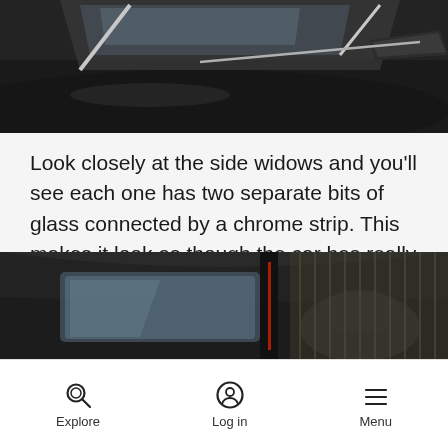[Figure (photo): Close-up of a dark car exterior showing the side window area with windshield, side mirror, and chrome strip detail against a dark hood.]
Look closely at the side widows and you'll see each one has two separate bits of glass connected by a chrome strip. This makes it look as though the car has really small, sleek windows from the outside, but the extra bit of glass lets in more light to make sure the interior still feels nice and airy.
[Figure (photo): Interior view of a car showing the dark roof lining, window glass, and car seats from above or side angle.]
Explore   Log in   Menu